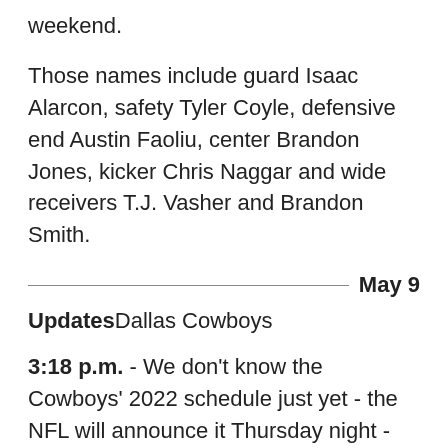weekend.
Those names include guard Isaac Alarcon, safety Tyler Coyle, defensive end Austin Faoliu, center Brandon Jones, kicker Chris Naggar and wide receivers T.J. Vasher and Brandon Smith.
May 9
UpdatesDallas Cowboys
3:18 p.m. - We don't know the Cowboys' 2022 schedule just yet - the NFL will announce it Thursday night - but we do know their strength of schedule for the upcoming season.